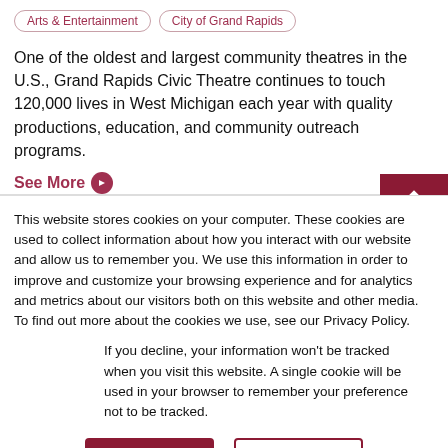Arts & Entertainment
City of Grand Rapids
One of the oldest and largest community theatres in the U.S., Grand Rapids Civic Theatre continues to touch 120,000 lives in West Michigan each year with quality productions, education, and community outreach programs.
See More →
This website stores cookies on your computer. These cookies are used to collect information about how you interact with our website and allow us to remember you. We use this information in order to improve and customize your browsing experience and for analytics and metrics about our visitors both on this website and other media. To find out more about the cookies we use, see our Privacy Policy.
If you decline, your information won't be tracked when you visit this website. A single cookie will be used in your browser to remember your preference not to be tracked.
Accept
Decline